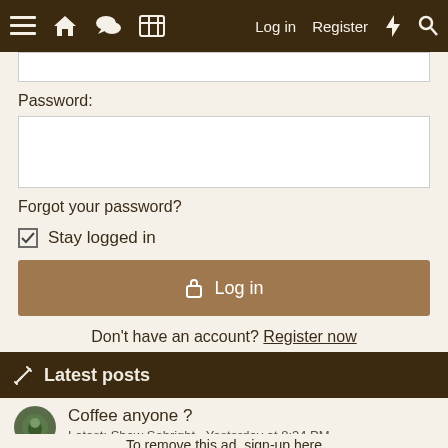≡ 🏠 💬 📋  Log in  Register  ⚡ 🔍
Password:
Forgot your password?
☑ Stay logged in
🔒 Log in
Don't have an account? Register now
✏ Latest posts
Coffee anyone ?
Latest: Show Sebright · Yesterday at 8:34 PM
Random Ramblings
To remove this ad, sign-up here
Diarrhea
Latest: Alaskan · Yesterday at 8:31 PM